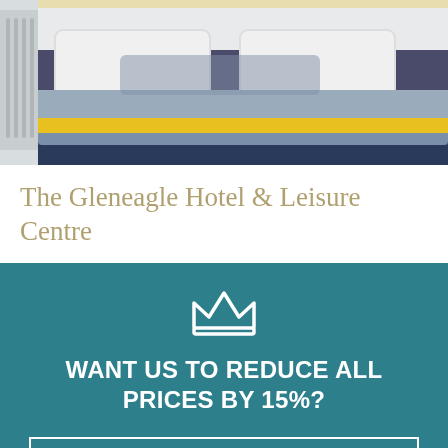[Figure (photo): Hotel room photo showing a bed with blue/grey duvet and yellow accent stripe, partial view of a radiator on the left side.]
The Gleneagle Hotel & Leisure Centre
WANT US TO REDUCE ALL PRICES BY 15%?
OK
Chat with PerfectStay.ie
Hi! How can we help you?